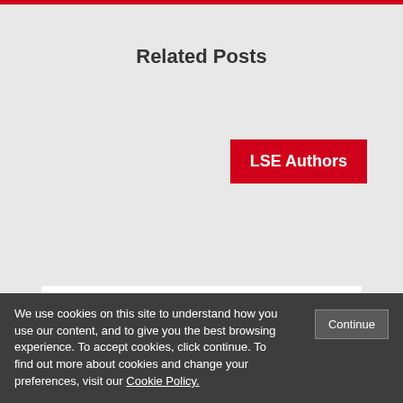Related Posts
[Figure (other): LSE Authors red button/tag label]
We use cookies on this site to understand how you use our content, and to give you the best browsing experience. To accept cookies, click continue. To find out more about cookies and change your preferences, visit our Cookie Policy.